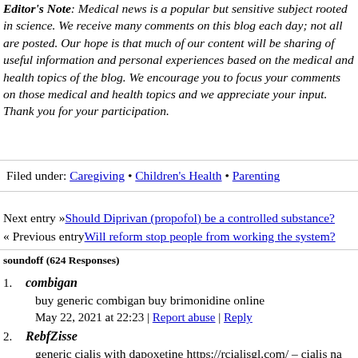Editor's Note: Medical news is a popular but sensitive subject rooted in science. We receive many comments on this blog each day; not all are posted. Our hope is that much of our content will be sharing of useful information and personal experiences based on the medical and health topics of the blog. We encourage you to focus your comments on those medical and health topics and we appreciate your input. Thank you for your participation.
Filed under: Caregiving • Children's Health • Parenting
Next entry »Should Diprivan (propofol) be a controlled substance?
« Previous entryWill reform stop people from working the system?
soundoff (624 Responses)
1. combigan
buy generic combigan buy brimonidine online
May 22, 2021 at 22:23 | Report abuse | Reply
2. RebfZisse
generic cialis with dapoxetine https://rcialisgl.com/ – cialis na...
May 23, 2021 at 02:09 | Report abuse | Reply
3. combigan